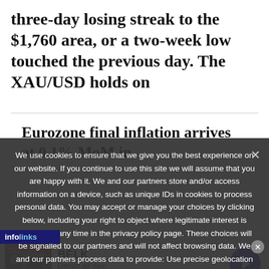three-day losing streak to the $1,760 area, or a two-week low touched the previous day. The XAU/USD holds on
Eurozone final inflation arrives at 0.1% MoM in
We use cookies to ensure that we give you the best experience on our website. If you continue to use this site we will assume that you are happy with it. We and our partners store and/or access information on a device, such as unique IDs in cookies to process personal data. You may accept or manage your choices by clicking below, including your right to object where legitimate interest is used, or at any time in the privacy policy page. These choices will be signalled to our partners and will not affect browsing data. We and our partners process data to provide: Use precise geolocation data. Actively scan device characteristics for identification. Store and/or
[Figure (screenshot): Advertisement banner for BELK department store. Shows 'BELK' brand name in bold, tagline 'Denim all day.' and website 'www.belk.com', with a small product image on the left and a blue circular arrow button on the right.]